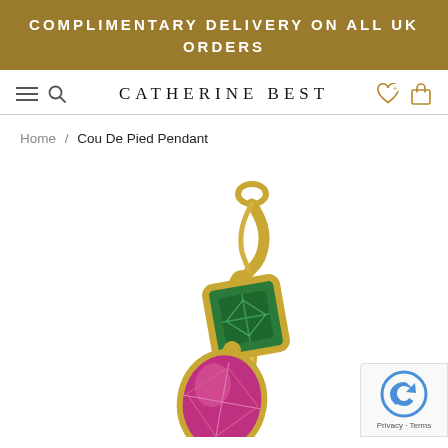COMPLIMENTARY DELIVERY ON ALL UK ORDERS
CATHERINE BEST
Home / Cou De Pied Pendant
[Figure (photo): Close-up product photo of the Cou De Pied Pendant — a gold pendant with a green emerald-cut gemstone and a pink/purple pear-shaped gemstone, on white background]